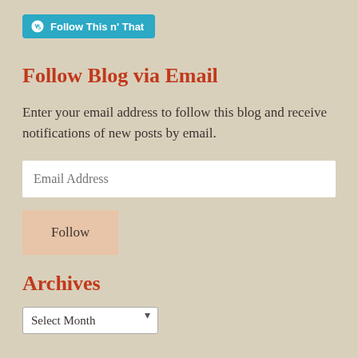[Figure (logo): WordPress follow button: cyan rounded rectangle with WordPress logo icon and text 'Follow This n' That']
Follow Blog via Email
Enter your email address to follow this blog and receive notifications of new posts by email.
Email Address
Follow
Archives
Select Month